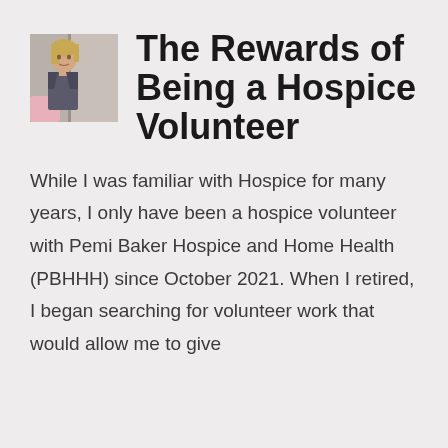[Figure (photo): Small portrait photo of a woman standing indoors, wearing a blazer, with a blurred interior background]
The Rewards of Being a Hospice Volunteer
While I was familiar with Hospice for many years, I only have been a hospice volunteer with Pemi Baker Hospice and Home Health (PBHHH) since October 2021. When I retired, I began searching for volunteer work that would allow me to give